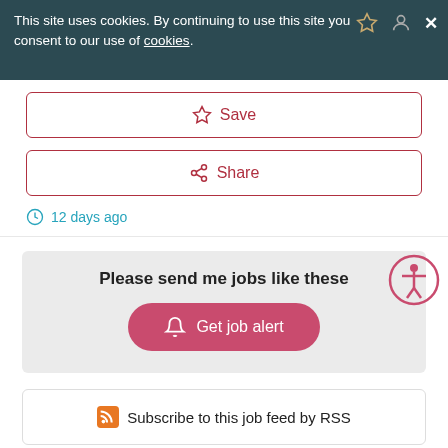This site uses cookies. By continuing to use this site you consent to our use of cookies.
Save
Share
12 days ago
Please send me jobs like these
Get job alert
Subscribe to this job feed by RSS